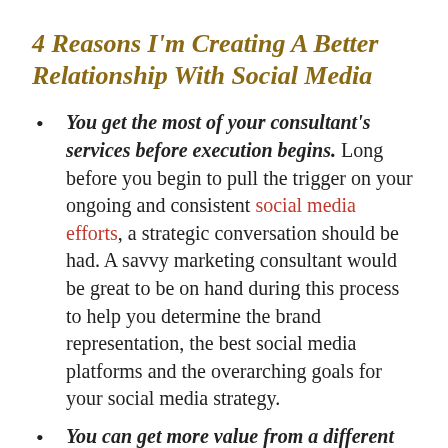4 Reasons I'm Creating A Better Relationship With Social Media
You get the most of your consultant's services before execution begins. Long before you begin to pull the trigger on your ongoing and consistent social media efforts, a strategic conversation should be had. A savvy marketing consultant would be great to be on hand during this process to help you determine the brand representation, the best social media platforms and the overarching goals for your social media strategy.
You can get more value from a different configuration. While the